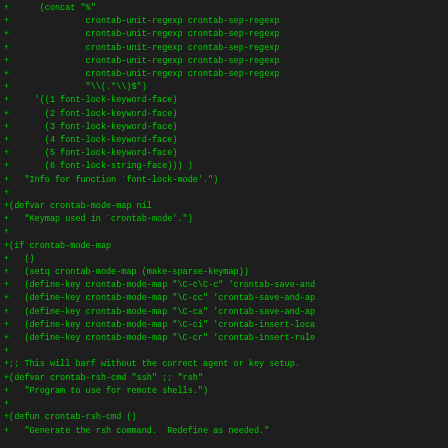+      (concat "%"
+               crontab-unit-regexp crontab-sep-regexp
+               crontab-unit-regexp crontab-sep-regexp
+               crontab-unit-regexp crontab-sep-regexp
+               crontab-unit-regexp crontab-sep-regexp
+               crontab-unit-regexp crontab-sep-regexp
+               "\\(.*\\)$")
+     '((1 font-lock-keyword-face)
+       (2 font-lock-keyword-face)
+       (3 font-lock-keyword-face)
+       (4 font-lock-keyword-face)
+       (5 font-lock-keyword-face)
+       (6 font-lock-string-face))) )
+   "Info for function `font-lock-mode'.")
+
+(defvar crontab-mode-map nil
+   "Keymap used in `crontab-mode'.")
+
+(if crontab-mode-map
+   ()
+   (setq crontab-mode-map (make-sparse-keymap))
+   (define-key crontab-mode-map "\C-c\C-c" 'crontab-save-and
+   (define-key crontab-mode-map "\C-cc" 'crontab-save-and-ap
+   (define-key crontab-mode-map "\C-ca" 'crontab-save-and-ap
+   (define-key crontab-mode-map "\C-ci" 'crontab-insert-loca
+   (define-key crontab-mode-map "\C-cr" 'crontab-insert-rule
+
+;; This will barf without the correct agent or key setup.
+(defvar crontab-rsh-cmd "ssh" ;; "rsh"
+   "Program to use for remote shells.")
+
+(defun crontab-rsh-cmd ()
+   "Generate the rsh command.  Redefine as needed."